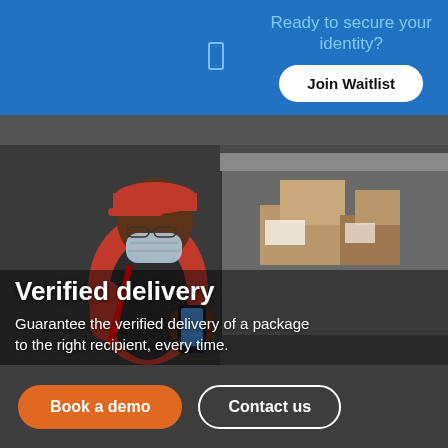Ready to secure your identity?
Join Waitlist
[Figure (photo): Delivery worker in red uniform and cap, wearing a face mask, standing by an open van loaded with packages, looking at a mobile device.]
Verified delivery
Guarantee the verified delivery of a package to the right recipient, every time.
Book a demo
Contact us